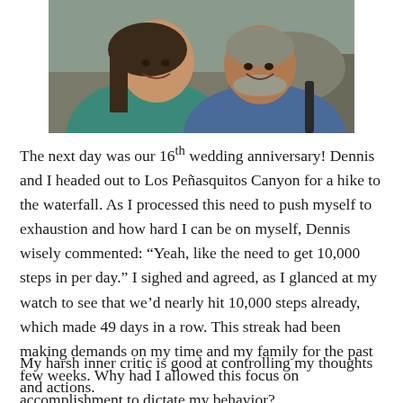[Figure (photo): A smiling couple taking a selfie outdoors. A woman on the left wearing a teal top with long dark hair, and a man on the right wearing a blue t-shirt with a backpack strap visible, with rocky terrain in the background.]
The next day was our 16th wedding anniversary!  Dennis and I headed out to Los Peñasquitos Canyon for a hike to the waterfall.  As I processed this need to push myself to exhaustion and how hard I can be on myself, Dennis wisely commented: “Yeah, like the need to get 10,000 steps in per day.”  I sighed and agreed, as I glanced at my watch to see that we’d nearly hit 10,000 steps already, which made 49 days in a row.  This streak had been making demands on my time and my family for the past few weeks.  Why had I allowed this focus on accomplishment to dictate my behavior?
My harsh inner critic is good at controlling my thoughts and actions.